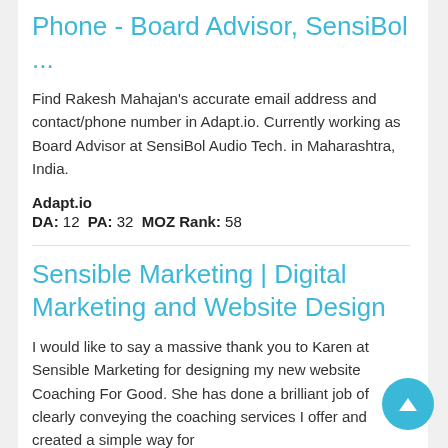Phone - Board Advisor, SensiBol ...
Find Rakesh Mahajan's accurate email address and contact/phone number in Adapt.io. Currently working as Board Advisor at SensiBol Audio Tech. in Maharashtra, India.
Adapt.io
DA: 12 PA: 32 MOZ Rank: 58
Sensible Marketing | Digital Marketing and Website Design
I would like to say a massive thank you to Karen at Sensible Marketing for designing my new website Coaching For Good. She has done a brilliant job of clearly conveying the coaching services I offer and created a simple way for